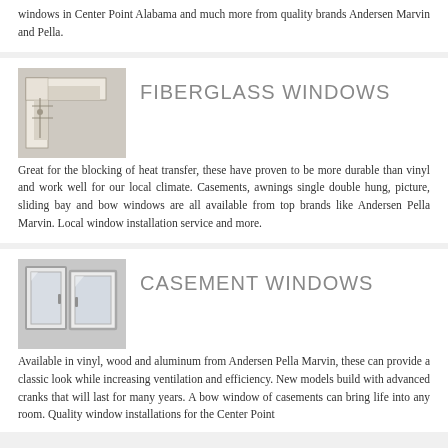windows in Center Point Alabama and much more from quality brands Andersen Marvin and Pella.
FIBERGLASS WINDOWS
[Figure (photo): Close-up photograph of a fiberglass window frame corner section showing white/cream colored frame components]
Great for the blocking of heat transfer, these have proven to be more durable than vinyl and work well for our local climate. Casements, awnings single double hung, picture, sliding bay and bow windows are all available from top brands like Andersen Pella Marvin. Local window installation service and more.
CASEMENT WINDOWS
[Figure (photo): Photograph of two white casement window frames shown side by side on gray background]
Available in vinyl, wood and aluminum from Andersen Pella Marvin, these can provide a classic look while increasing ventilation and efficiency. New models build with advanced cranks that will last for many years. A bow window of casements can bring life into any room. Quality window installations for the Center Point